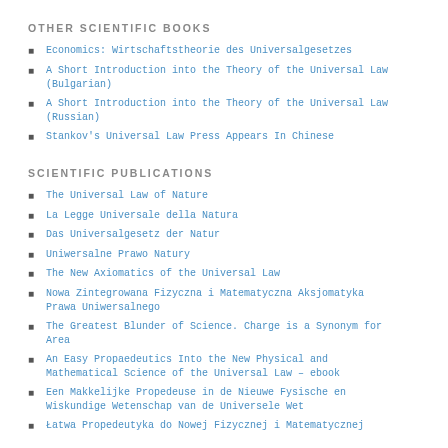OTHER SCIENTIFIC BOOKS
Economics: Wirtschaftstheorie des Universalgesetzes
A Short Introduction into the Theory of the Universal Law (Bulgarian)
A Short Introduction into the Theory of the Universal Law (Russian)
Stankov's Universal Law Press Appears In Chinese
SCIENTIFIC PUBLICATIONS
The Universal Law of Nature
La Legge Universale della Natura
Das Universalgesetz der Natur
Uniwersalne Prawo Natury
The New Axiomatics of the Universal Law
Nowa Zintegrowana Fizyczna i Matematyczna Aksjomatyka Prawa Uniwersalnego
The Greatest Blunder of Science. Charge is a Synonym for Area
An Easy Propaedeutics Into the New Physical and Mathematical Science of the Universal Law – ebook
Een Makkelijke Propedeuse in de Nieuwe Fysische en Wiskundige Wetenschap van de Universele Wet
Łatwa Propedeutyka do Nowej Fizycznej i Matematycznej